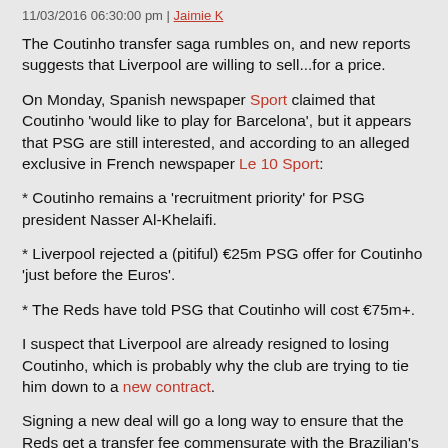11/03/2016 06:30:00 pm | Jaimie K
The Coutinho transfer saga rumbles on, and new reports suggests that Liverpool are willing to sell...for a price.
On Monday, Spanish newspaper Sport claimed that Coutinho 'would like to play for Barcelona', but it appears that PSG are still interested, and according to an alleged exclusive in French newspaper Le 10 Sport:
* Coutinho remains a 'recruitment priority' for PSG president Nasser Al-Khelaifi.
* Liverpool rejected a (pitiful) €25m PSG offer for Coutinho 'just before the Euros'.
* The Reds have told PSG that Coutinho will cost €75m+.
I suspect that Liverpool are already resigned to losing Coutinho, which is probably why the club are trying to tie him down to a new contract.
Signing a new deal will go a long way to ensure that the Reds get a transfer fee commensurate with the Brazilian's